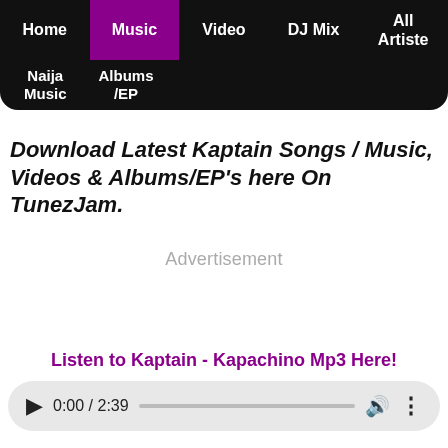Home | Music | Video | DJ Mix | All Artiste | Naija Music | Albums/EP
Download Latest Kaptain Songs / Music, Videos & Albums/EP's here On TunezJam.
Advertisement
Listen to Kaptain - Kapachino Mp3 Here!
[Figure (other): Audio player showing 0:00 / 2:39 with play button, progress bar, volume, and menu icons]